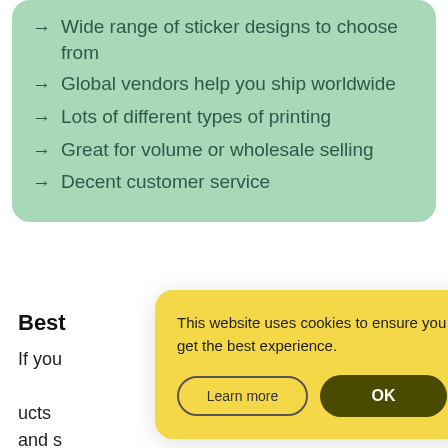→ Wide range of sticker designs to choose from
→ Global vendors help you ship worldwide
→ Lots of different types of printing
→ Great for volume or wholesale selling
→ Decent customer service
Best
If you ... ucts and s ... world ... e compa ... ck
This website uses cookies to ensure you get the best experience.